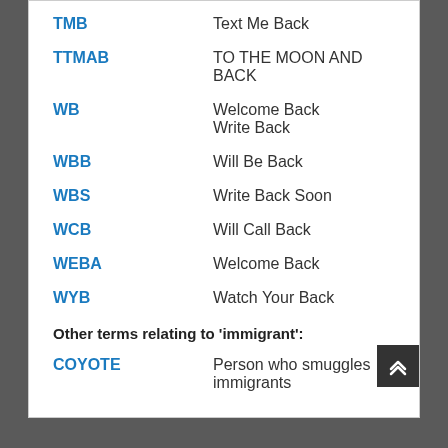TMB — Text Me Back
TTMAB — TO THE MOON AND BACK
WB — Welcome Back / Write Back
WBB — Will Be Back
WBS — Write Back Soon
WCB — Will Call Back
WEBA — Welcome Back
WYB — Watch Your Back
Other terms relating to 'immigrant':
COYOTE — Person who smuggles immigrants